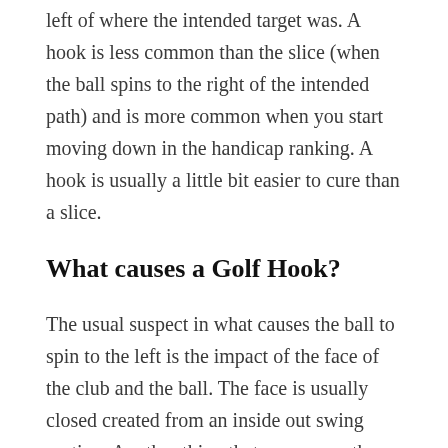left of where the intended target was. A hook is less common than the slice (when the ball spins to the right of the intended path) and is more common when you start moving down in the handicap ranking. A hook is usually a little bit easier to cure than a slice.
What causes a Golf Hook?
The usual suspect in what causes the ball to spin to the left is the impact of the face of the club and the ball. The face is usually closed created from an inside out swing motion. Another thing that may cause the face of the club to be closed is using too much hands in the